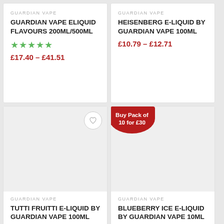GUARDIAN VAPE
GUARDIAN VAPE ELIQUID FLAVOURS 200ML/500ML
★★★★★
£17.40 – £41.51
GUARDIAN VAPE
HEISENBERG E-LIQUID BY GUARDIAN VAPE 100ML
£10.79 – £12.71
[Figure (other): Product image area for Tutti Fruitti E-Liquid, grey background placeholder]
GUARDIAN VAPE
TUTTI FRUITTI E-LIQUID BY GUARDIAN VAPE 100ML
[Figure (other): Product image area for Blueberry Ice E-Liquid, grey background placeholder with red promotional badge reading Buy Pack of 10 for £30]
GUARDIAN VAPE
BLUEBERRY ICE E-LIQUID BY GUARDIAN VAPE 10ML